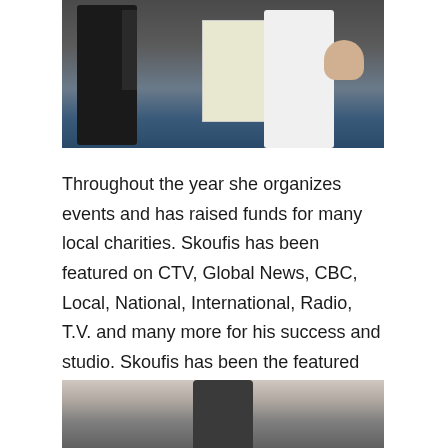[Figure (photo): Photo of people in martial arts attire holding awards/certificates and a black belt plaque, standing in front of a blue background]
Throughout the year she organizes events and has raised funds for many local charities. Skoufis has been featured on CTV, Global News, CBC, Local, National, International, Radio, T.V. and many more for his success and studio. Skoufis has been the featured story for a variety of news outlets. Sophie Skoufis was named an official RBC Woman of Inspiration Nominee.
[Figure (photo): Photo of a person in martial arts gear, partial view showing the upper body with equipment]